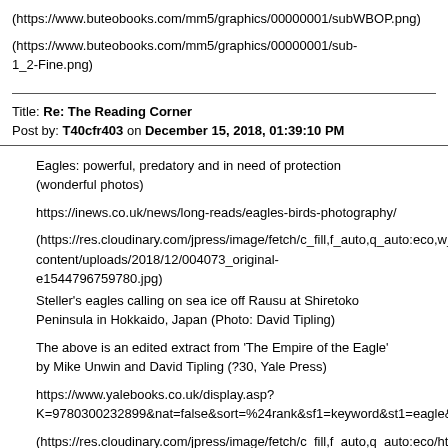(https://www.buteobooks.com/mm5/graphics/00000001/subWBOP.png)
(https://www.buteobooks.com/mm5/graphics/00000001/sub-1_2-Fine.png)
Title: Re: The Reading Corner
Post by: T40cfr403 on December 15, 2018, 01:39:10 PM
Eagles: powerful, predatory and in need of protection (wonderful photos)
https://inews.co.uk/news/long-reads/eagles-birds-photography/
(https://res.cloudinary.com/jpress/image/fetch/c_fill,f_auto,q_auto:eco,w_content/uploads/2018/12/004073_original-e1544796759780.jpg)
Steller's eagles calling on sea ice off Rausu at Shiretoko Peninsula in Hokkaido, Japan (Photo: David Tipling)
The above is an edited extract from 'The Empire of the Eagle' by Mike Unwin and David Tipling (?30, Yale Press)
https://www.yalebooks.co.uk/display.asp?K=9780300232899&nat=false&sort=%24rank&sf1=keyword&st1=eagle&
(https://res.cloudinary.com/jpress/image/fetch/c_fill,f_auto,q_auto:eco/https_content/uploads/2018/12/9780300232899-